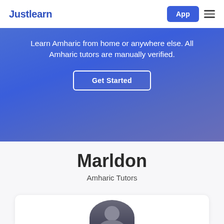Justlearn
Learn Amharic from home or anywhere else. All Amharic tutors are manually verified.
Get Started
Marldon
Amharic Tutors
[Figure (photo): Profile photo of tutor Marldon, partially visible at bottom of page]